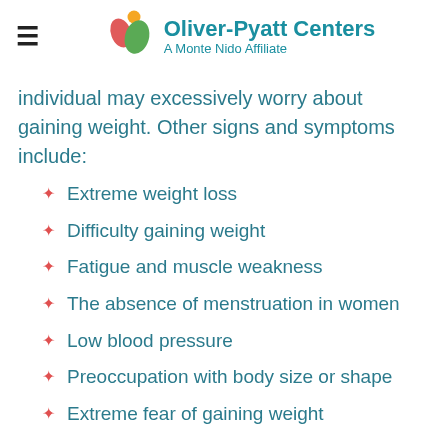Oliver-Pyatt Centers — A Monte Nido Affiliate
individual may excessively worry about gaining weight. Other signs and symptoms include:
Extreme weight loss
Difficulty gaining weight
Fatigue and muscle weakness
The absence of menstruation in women
Low blood pressure
Preoccupation with body size or shape
Extreme fear of gaining weight